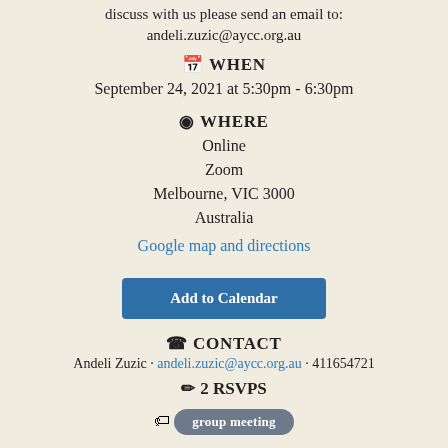discuss with us please send an email to: andeli.zuzic@aycc.org.au
WHEN
September 24, 2021 at 5:30pm - 6:30pm
WHERE
Online
Zoom
Melbourne, VIC 3000
Australia
Google map and directions
Add to Calendar
CONTACT
Andeli Zuzic · andeli.zuzic@aycc.org.au · 411654721
2 RSVPS
group meeting